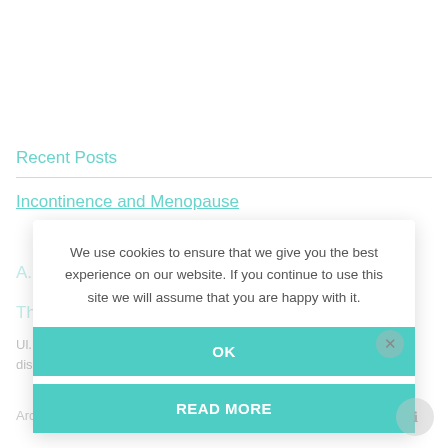Recent Posts
Incontinence and Menopause
The best Incontinence Products 2022
disposable
Archives
We use cookies to ensure that we give you the best experience on our website. If you continue to use this site we will assume that you are happy with it.
OK
READ MORE